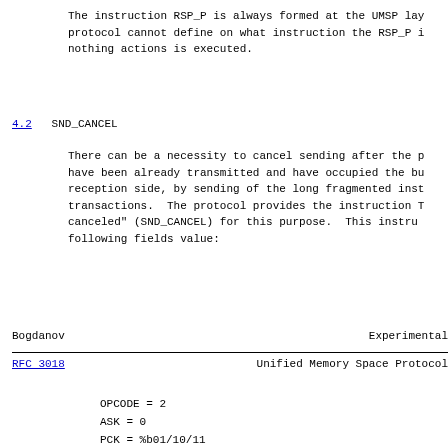The instruction RSP_P is always formed at the UMSP lay protocol cannot define on what instruction the RSP_P nothing actions is executed.
4.2  SND_CANCEL
There can be a necessity to cancel sending after the p have been already transmitted and have occupied the b reception side, by sending of the long fragmented inst transactions. The protocol provides the instruction canceled" (SND_CANCEL) for this purpose. This instru following fields value:
Bogdanov                                    Experimental
RFC 3018               Unified Memory Space Protocol
OPCODE = 2
ASK = 0
PCK = %b01/10/11
EXT = 0/1
CHN = 1
OPR_LENGTH = 1
SESSION_ID - The value is taken from the cancelled